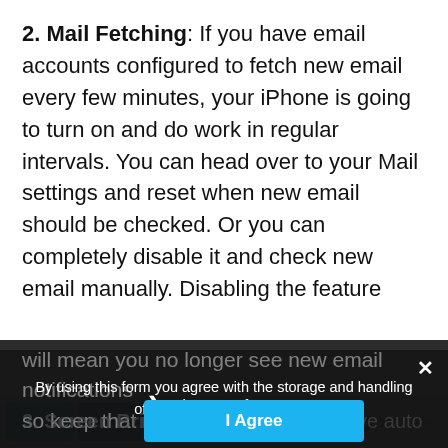2. Mail Fetching: If you have email accounts configured to fetch new email every few minutes, your iPhone is going to turn on and do work in regular intervals. You can head over to your Mail settings and reset when new email should be checked. Or you can completely disable it and check new email manually. Disabling the feature will mean you no longer see new email notifications so keep that in mind when disabling.
By using this form you agree with the storage and handling of your data by this website.
Privacy Preferences
I Agree
3. Screen Brightness: If you don't have auto